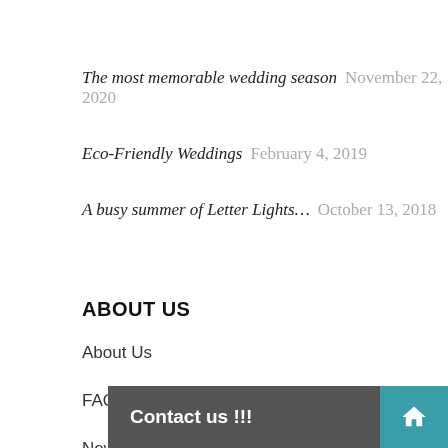The most memorable wedding season  November 22, 2020
Eco-Friendly Weddings  February 4, 2019
A busy summer of Letter Lights…  October 13, 2018
ABOUT US
About Us
FAQ's
News
Gallery
Terms & Conditions
Contact us !!!
Privacy & Cookies Policy